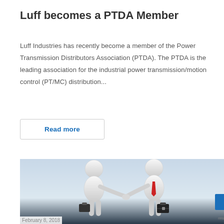Luff becomes a PTDA Member
Luff Industries has recently become a member of the Power Transmission Distributors Association (PTDA). The PTDA is the leading association for the industrial power transmission/motion control (PT/MC) distribution...
Read more
[Figure (illustration): Two white 3D cartoon-style figures shaking hands, each carrying a briefcase. One wears a red tie. Background is a light bluish-grey gradient.]
February 8, 2018